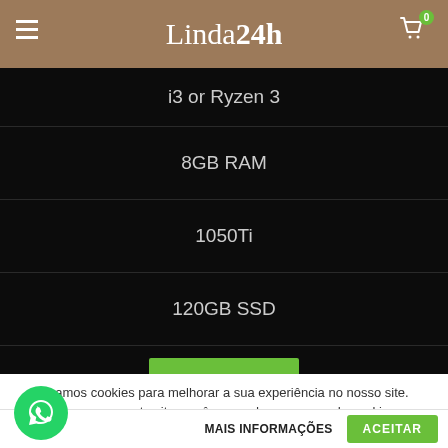Linda24h — navigation header with menu and cart
i3 or Ryzen 3
8GB RAM
1050Ti
120GB SSD
Usamos cookies para melhorar a sua experiência no nosso site. Ao navegar neste site, você concorda com o uso de cookies.
MAIS INFORMAÇÕES
ACEITAR